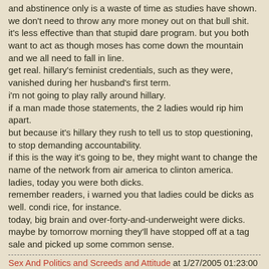and abstinence only is a waste of time as studies have shown. we don't need to throw any more money out on that bull shit. it's less effective than that stupid dare program. but you both want to act as though moses has come down the mountain and we all need to fall in line.
get real. hillary's feminist credentials, such as they were, vanished during her husband's first term.
i'm not going to play rally around hillary.
if a man made those statements, the 2 ladies would rip him apart.
but because it's hillary they rush to tell us to stop questioning, to stop demanding accountability.
if this is the way it's going to be, they might want to change the name of the network from air america to clinton america.
ladies, today you were both dicks.
remember readers, i warned you that ladies could be dicks as well. condi rice, for instance.
today, big brain and over-forty-and-underweight were dicks. maybe by tomorrow morning they'll have stopped off at a tag sale and picked up some common sense.
Sex And Politics and Screeds and Attitude at 1/27/2005 01:23:00